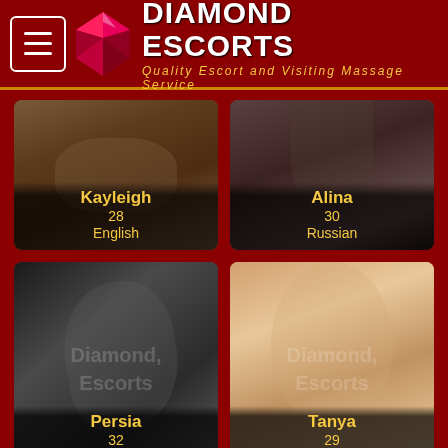Diamond Escorts — Quality Escort and Visiting Massage Service
[Figure (photo): Card photo of Kayleigh, age 28, English]
[Figure (photo): Card photo of Alina, age 30, Russian]
[Figure (photo): Card photo of Persia, age 32]
[Figure (photo): Card photo of Tanya, age 29]